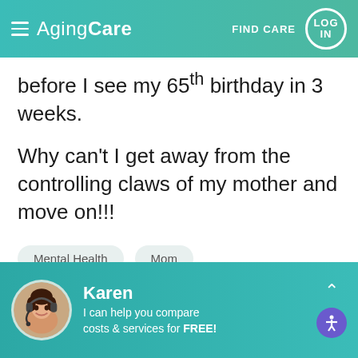AgingCare — FIND CARE — LOG IN
before I see my 65th birthday in 3 weeks.
Why can't I get away from the controlling claws of my mother and move on!!!
Mental Health
Mom
This question has been closed for answers. Ask a New Question.
Karen — I can help you compare costs & services for FREE!